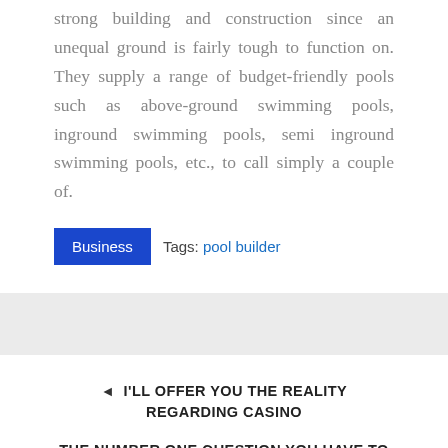strong building and construction since an unequal ground is fairly tough to function on. They supply a range of budget-friendly pools such as above-ground swimming pools, inground swimming pools, semi inground swimming pools, etc., to call simply a couple of.
Business  Tags: pool builder
◄ I'LL OFFER YOU THE REALITY REGARDING CASINO
THE NUMBER ONE QUESTION YOU HAVE TO REQUEST WINE DISTRIBUTOR ►